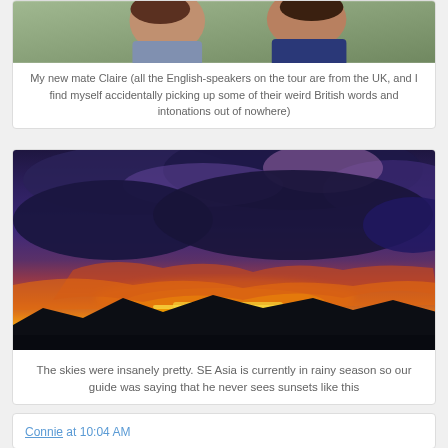[Figure (photo): Photo of two women (new mate Claire) cropped at top of page]
My new mate Claire (all the English-speakers on the tour are from the UK, and I find myself accidentally picking up some of their weird British words and intonations out of nowhere)
[Figure (photo): Dramatic sunset photo with dark purple clouds and orange/yellow sky over silhouetted mountains, taken in SE Asia]
The skies were insanely pretty. SE Asia is currently in rainy season so our guide was saying that he never sees sunsets like this
Connie at 10:04 AM